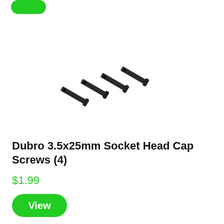[Figure (photo): Four black socket head cap screws (3.5x25mm) arranged diagonally, photographed on white background]
Dubro 3.5x25mm Socket Head Cap Screws (4)
$1.99
View